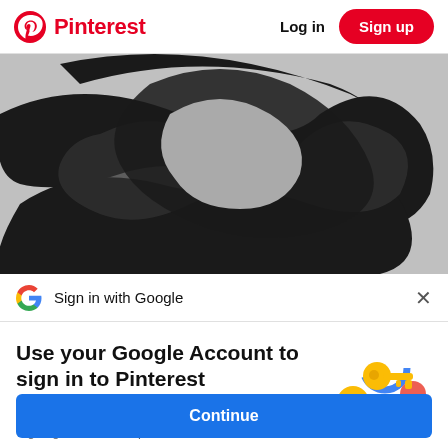Pinterest   Log in   Sign up
[Figure (illustration): Abstract black and white swirling pattern illustration with flowing brushstroke-like shapes on a grey background with faint numbers]
Sign in with Google
Use your Google Account to sign in to Pinterest
No more passwords to remember. Signing in is fast, simple and secure.
[Figure (illustration): Google key illustration with colorful circular icons representing Google sign-in feature]
Continue